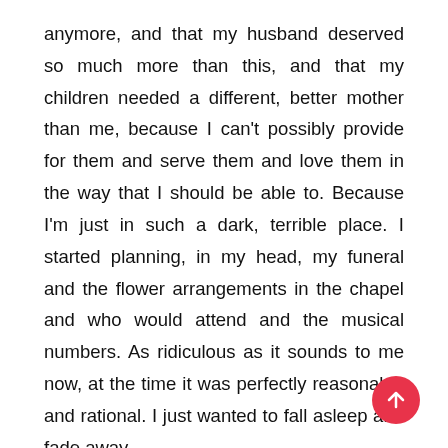anymore, and that my husband deserved so much more than this, and that my children needed a different, better mother than me, because I can't possibly provide for them and serve them and love them in the way that I should be able to. Because I'm just in such a dark, terrible place. I started planning, in my head, my funeral and the flower arrangements in the chapel and who would attend and the musical numbers. As ridiculous as it sounds to me now, at the time it was perfectly reasonable and rational. I just wanted to fall asleep and fade away.
I tell that story because I know many, many people have been through it and are going through it. I just want people to know that there is hope, and that you can climb out and you can find peace, and you can find